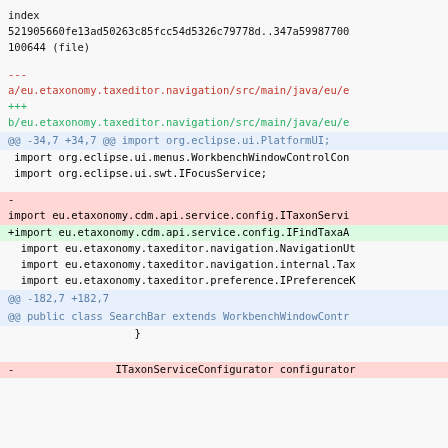index
521905660fe13ad50263c85fcc54d5326c79778d..347a59987700
100644 (file)
---
a/eu.etaxonomy.taxeditor.navigation/src/main/java/eu/e
+++
b/eu.etaxonomy.taxeditor.navigation/src/main/java/eu/e
@@ -34,7 +34,7 @@ import org.eclipse.ui.PlatformUI;
import org.eclipse.ui.menus.WorkbenchWindowControlCon
 import org.eclipse.ui.swt.IFocusService;
-
import eu.etaxonomy.cdm.api.service.config.ITaxonServi
+import eu.etaxonomy.cdm.api.service.config.IFindTaxaA
  import eu.etaxonomy.taxeditor.navigation.NavigationUt
  import eu.etaxonomy.taxeditor.navigation.internal.Tax
  import eu.etaxonomy.taxeditor.preference.IPreferenceK
@@ -182,7 +182,7
@@ public class SearchBar extends WorkbenchWindowContr
}
-                ITaxonServiceConfigurator configurator